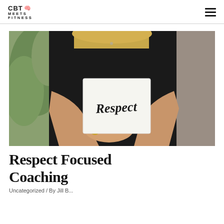CBT MEETS FITNESS
[Figure (photo): Person in black t-shirt holding a white card with the word 'Respect' written in handwritten script, with green plants in the background]
Respect Focused Coaching
Uncategorized / By Jill B...